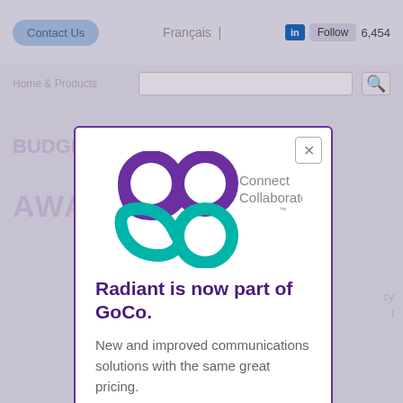[Figure (screenshot): Website background showing navigation bar with Contact Us button, Français link, LinkedIn Follow button with 6,454 followers, a search bar row, and faded watermark text behind a modal popup overlay]
[Figure (logo): GoCo logo with purple 'go' letters and teal 'co' letters forming an infinity/figure-8 shape, with 'Connect Collaborate' text and trademark symbol]
Radiant is now part of GoCo.
New and improved communications solutions with the same great pricing.
LEARN MORE